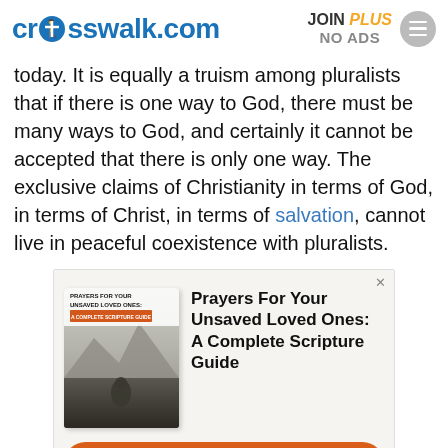crosswalk.com | JOIN PLUS NO ADS
today. It is equally a truism among pluralists that if there is one way to God, there must be many ways to God, and certainly it cannot be accepted that there is only one way. The exclusive claims of Christianity in terms of God, in terms of Christ, in terms of salvation, cannot live in peaceful coexistence with pluralists.
[Figure (infographic): Advertisement for 'Prayers For Your Unsaved Loved Ones: A Complete Scripture Guide' with book cover image showing a person in a landscape and an orange 'Free Prayer Guide' call-to-action button.]